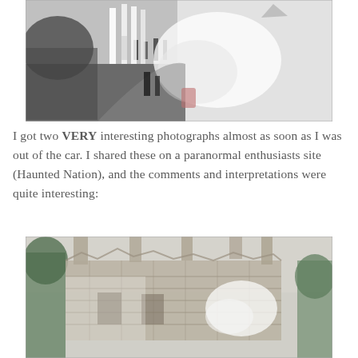[Figure (photo): A partially inverted or overexposed photograph of a cemetery or outdoor scene with gravestones, trees, and misty/ghostly white light effects in the upper right portion.]
I got two VERY interesting photographs almost as soon as I was out of the car. I shared these on a paranormal enthusiasts site (Haunted Nation), and the comments and interpretations were quite interesting:
[Figure (photo): An overexposed or inverted photograph of ruins of a stone building with partial walls, chimneys/pillars still standing, surrounded by trees. White ghostly shapes are overlaid in the center-right area.]